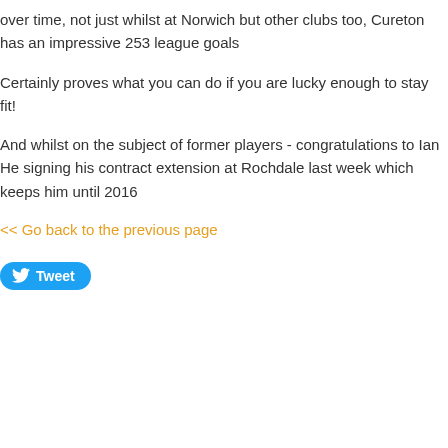over time, not just whilst at Norwich but other clubs too, Cureton has an impressive 253 league goals
Certainly proves what you can do if you are lucky enough to stay fit!
And whilst on the subject of former players - congratulations to Ian He signing his contract extension at Rochdale last week which keeps him until 2016
<< Go back to the previous page
[Figure (other): Tweet button with Twitter bird icon]